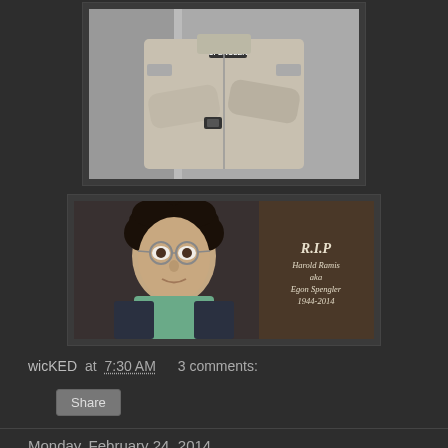[Figure (photo): Black and white photo of a person in a jumpsuit with arms crossed, showing name tag and watch, torso/chest area visible]
[Figure (photo): Color still from a movie showing a man with glasses smiling, with R.I.P. text overlay reading: R.I.P Harold Ramis aka Egon Spengler 1944-2014]
wicKED at 7:30 AM    3 comments:
Share
Monday, February 24, 2014